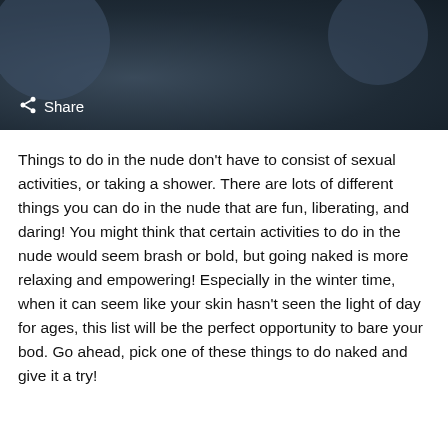[Figure (photo): Dark blue-grey header image with circular shapes and a share button overlay at bottom left]
Things to do in the nude don’t have to consist of sexual activities, or taking a shower. There are lots of different things you can do in the nude that are fun, liberating, and daring! You might think that certain activities to do in the nude would seem brash or bold, but going naked is more relaxing and empowering! Especially in the winter time, when it can seem like your skin hasn’t seen the light of day for ages, this list will be the perfect opportunity to bare your bod. Go ahead, pick one of these things to do naked and give it a try!